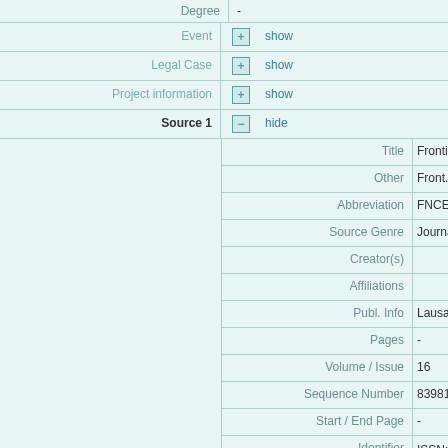| Field | Value |
| --- | --- |
| Degree | - |
| Event | show |
| Legal Case | show |
| Project information | show |
| Source 1 | hide |
| Title | Frontiers in Cellular Ne… |
| Other | Front. Cell. Neurosci. |
| Abbreviation | FNCEL |
| Source Genre | Journal |
| Creator(s) |  |
| Affiliations |  |
| Publ. Info | Lausanne : Frontiers M… |
| Pages | - |
| Volume / Issue | 16 |
| Sequence Number | 839811 |
| Start / End Page | - |
| Identifier | ISSN: 1664-8714
ISSN: 1662-5102
CoNE: https://pure.mpg… |